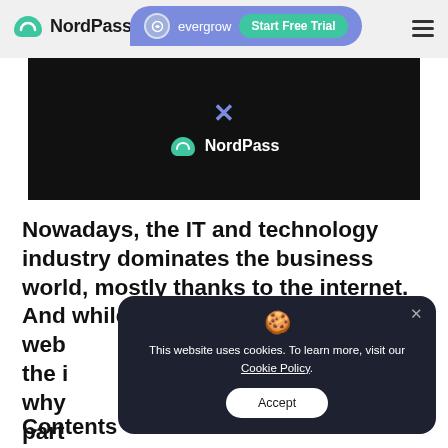NordPass
[Figure (screenshot): NordPass website header with evergrow ad bubble showing 'Start Free Trial' button and hamburger menu icon]
[Figure (screenshot): Black hero image area showing NordPass logo in white on dark background with X mark above]
Nowadays, the IT and technology industry dominates the business world, mostly thanks to the internet. And while the world wide web [obscured] in the i[obscured] t's why [obscured] e part[obscured]
[Figure (screenshot): Cookie consent modal popup with dark background showing cookie emoji, text 'This website uses cookies. To learn more, visit our Cookie Policy.' and an Accept button]
Contents